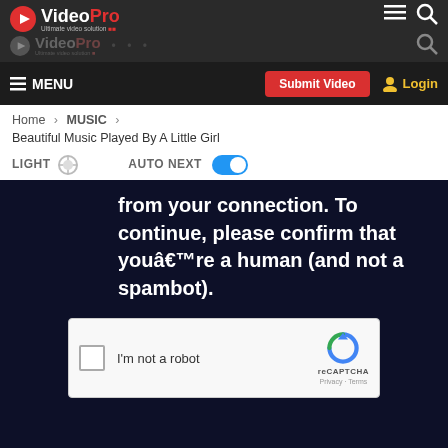VideoPro — Ultimate video solution
MENU | Submit Video | Login
Home > MUSIC > Beautiful Music Played By A Little Girl
LIGHT  AUTO NEXT
[Figure (screenshot): Dark blue video player area showing a reCAPTCHA challenge with text: 'from your connection. To continue, please confirm that youâ€™re a human (and not a spambot).' and an 'I'm not a robot' checkbox widget.]